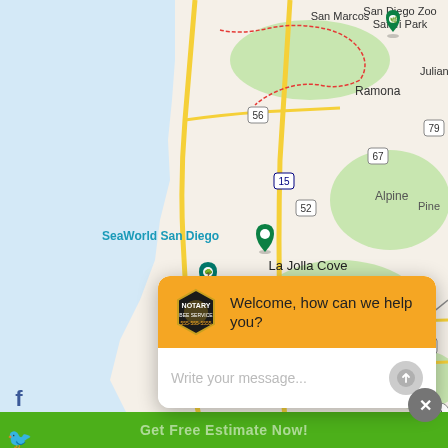[Figure (map): Google Maps view showing San Diego area including La Jolla Cove, SeaWorld San Diego, Cabrillo National Monument, San Diego Zoo, Chula Vista, Tijuana, Tecate, Alpine, Ramona, Julian, with roads and geographic features visible. Map pins mark La Jolla Cove, SeaWorld, San Diego Zoo, Cabrillo National Monument, and San Diego Zoo Safari Park.]
[Figure (screenshot): Chat widget overlay with golden/orange header showing a hexagonal logo badge and the text 'Welcome, how can we help you?' and a white input area with placeholder text 'Write your message...' and a gray send button.]
Welcome, how can we help you?
Write your message...
Get Free Estimate Now!